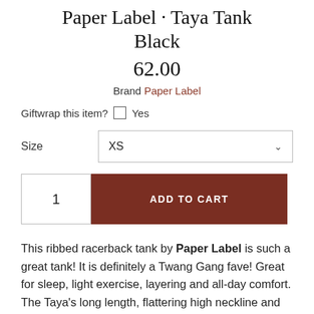Paper Label Taya Tank Black
62.00
Brand Paper Label
Giftwrap this item? Yes
Size XS
1 ADD TO CART
This ribbed racerback tank by Paper Label is such a great tank! It is definitely a Twang Gang fave! Great for sleep, light exercise, layering and all-day comfort. The Taya's long length, flattering high neckline and sleek soft stretchy fabric make it effortlessly stylish and oh so wearable.